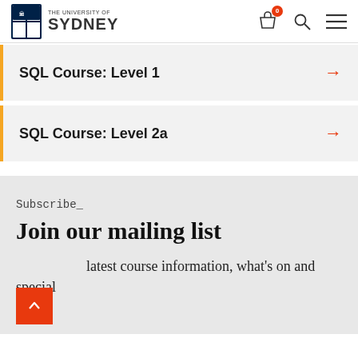The University of Sydney
SQL Course: Level 1
SQL Course: Level 2a
Subscribe_
Join our mailing list
latest course information, what's on and special rs